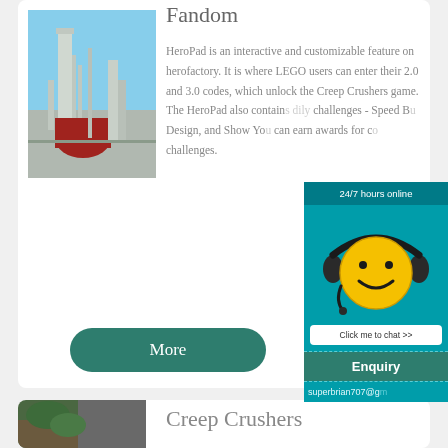[Figure (photo): Industrial facility/factory with towers and structures against a blue sky]
Fandom
HeroPad is an interactive and customizable feature on herofactory. It is where LEGO users can enter their 2.0 and 3.0 codes, which unlock the Creep Crushers game. The HeroPad also contains daily challenges - Speed Bu... Design, and Show Yo... can earn awards for c... challenges.
More
[Figure (infographic): 24/7 hours online chat widget with smiley face wearing headset, Click me to chat >> button, Enquiry section, and superbrian707@g... email]
[Figure (photo): Natural landscape with vegetation]
Creep Crushers